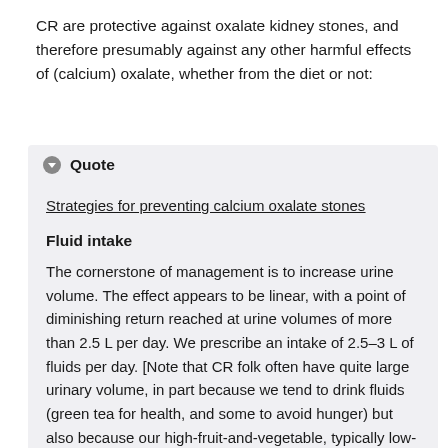CR are protective against oxalate kidney stones, and therefore presumably against any other harmful effects of (calcium) oxalate, whether from the diet or not:
Quote
Strategies for preventing calcium oxalate stones
Fluid intake
The cornerstone of management is to increase urine volume. The effect appears to be linear, with a point of diminishing return reached at urine volumes of more than 2.5 L per day. We prescribe an intake of 2.5–3 L of fluids per day. [Note that CR folk often have quite large urinary volume, in part because we tend to drink fluids (green tea for health, and some to avoid hunger) but also because our high-fruit-and-vegetable, typically low-grain diets are loaded with water. Water in food counts: it's total fluid